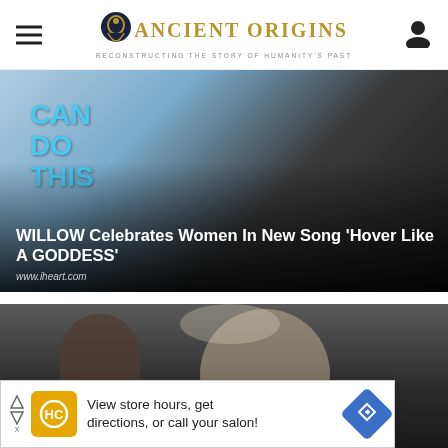ANCIENT ORIGINS — RECONSTRUCTING THE STORY OF HUMANITY'S PAST
[Figure (photo): Young woman with shaved head, dark lipstick, wearing a spiked choker and black coat, in front of a blue background with text 'CAN DO THIS'. Article headline overlay reads: WILLOW Celebrates Women In New Song 'Hover Like A GODDESS'. Source: www.iheart.com]
[Figure (photo): Two men in close-up, one young dark-haired man and one older man with white/blonde hair, in a crowd setting. Partially obscured by advertisement overlay.]
View store hours, get directions, or call your salon!